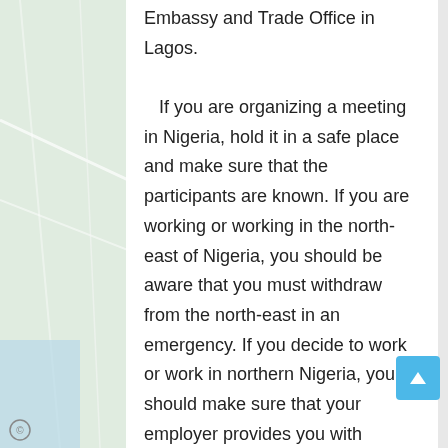Embassy and Trade Office in Lagos.

If you are organizing a meeting in Nigeria, hold it in a safe place and make sure that the participants are known. If you are working or working in the north-east of Nigeria, you should be aware that you must withdraw from the north-east in an emergency. If you decide to work or work in northern Nigeria, you should make sure that your employer provides you with information about where you live and work, as well as the location of your accommodation and other important information.